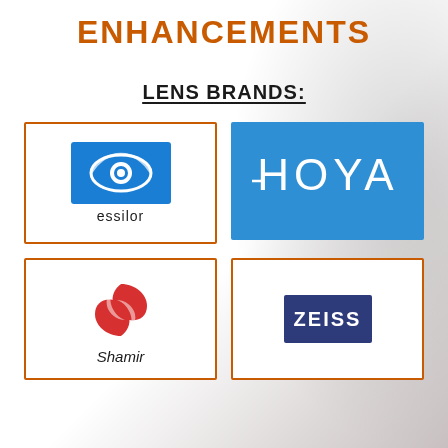ENHANCEMENTS
LENS BRANDS:
[Figure (logo): Essilor logo: blue rectangle with stylized eye icon and 'essilor' text below, inside orange border box]
[Figure (logo): Hoya logo: white 'HOYA' text on solid blue background]
[Figure (logo): Shamir logo: red double-S swirl icon with 'Shamir' text below, inside orange border box]
[Figure (logo): Zeiss logo: dark navy blue rectangle with white 'ZEISS' text, inside orange border box]